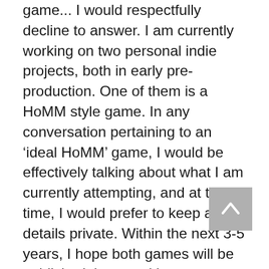game... I would respectfully decline to answer. I am currently working on two personal indie projects, both in early pre-production. One of them is a HoMM style game. In any conversation pertaining to an 'ideal HoMM' game, I would be effectively talking about what I am currently attempting, and at this time, I would prefer to keep all details private. Within the next 3-5 years, I hope both games will be published, but as with any entrepreneurial effort, the likelihood for failure is far greater than the chance for success.
As to my idea of a perfect MM game… this one gives me pause. With a finite scope and limited ambition, one part of me desires a high quality, traditional, single player, turn based, tile based, RPG, with a